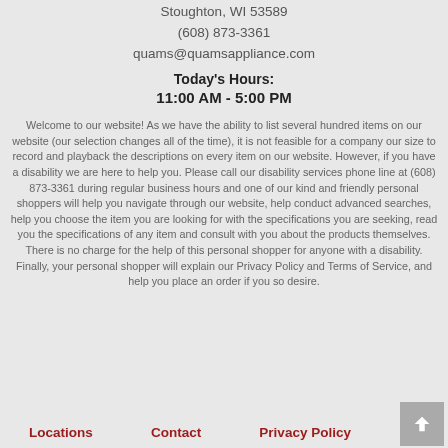Stoughton, WI 53589
(608) 873-3361
quams@quamsappliance.com
Today's Hours:
11:00 AM - 5:00 PM
Welcome to our website! As we have the ability to list several hundred items on our website (our selection changes all of the time), it is not feasible for a company our size to record and playback the descriptions on every item on our website. However, if you have a disability we are here to help you. Please call our disability services phone line at (608) 873-3361 during regular business hours and one of our kind and friendly personal shoppers will help you navigate through our website, help conduct advanced searches, help you choose the item you are looking for with the specifications you are seeking, read you the specifications of any item and consult with you about the products themselves. There is no charge for the help of this personal shopper for anyone with a disability. Finally, your personal shopper will explain our Privacy Policy and Terms of Service, and help you place an order if you so desire.
Locations   Contact   Privacy Policy